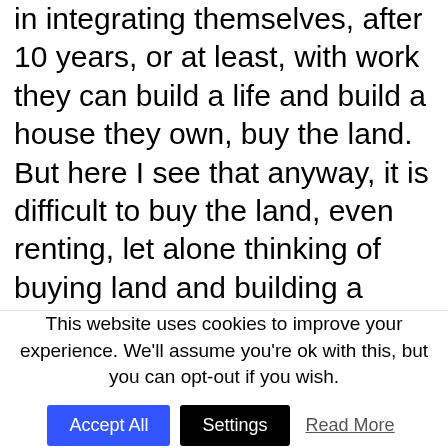in integrating themselves, after 10 years, or at least, with work they can build a life and build a house they own, buy the land. But here I see that anyway, it is difficult to buy the land, even renting, let alone thinking of buying land and building a house with all the laws that it entails… having [to engage] an agency, going to the construction company, however it is called, to build a house. In my country it is very easy. And then you are at home, in your home, in your country, and if you rent you are looked upon very badly. And so, besides the difficulties that exist here to rent, it is like a treasure hunt finding a
This website uses cookies to improve your experience. We'll assume you're ok with this, but you can opt-out if you wish.